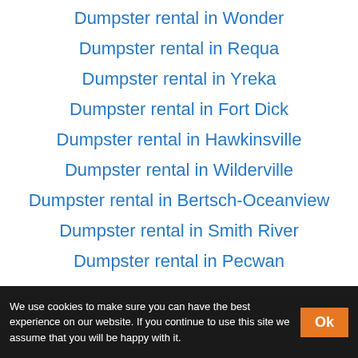Dumpster rental in Wonder
Dumpster rental in Requa
Dumpster rental in Yreka
Dumpster rental in Fort Dick
Dumpster rental in Hawkinsville
Dumpster rental in Wilderville
Dumpster rental in Bertsch-Oceanview
Dumpster rental in Smith River
Dumpster rental in Pecwan
We use cookies to make sure you can have the best experience on our website. If you continue to use this site we assume that you will be happy with it.